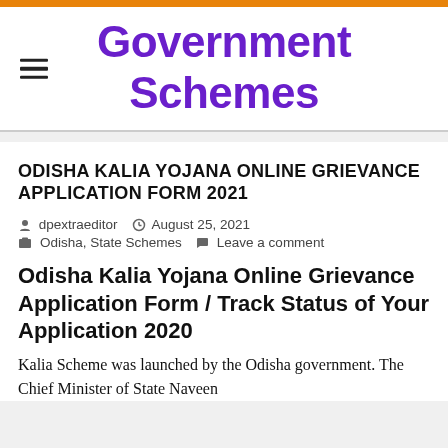Government Schemes
ODISHA KALIA YOJANA ONLINE GRIEVANCE APPLICATION FORM 2021
dpextraeditor   August 25, 2021   Odisha, State Schemes   Leave a comment
Odisha Kalia Yojana Online Grievance Application Form / Track Status of Your Application 2020
Kalia Scheme was launched by the Odisha government. The Chief Minister of State Naveen